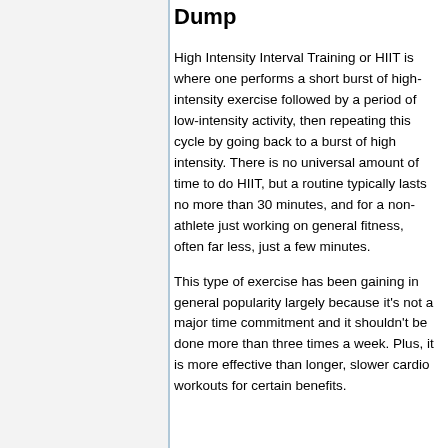Dump
High Intensity Interval Training or HIIT is where one performs a short burst of high-intensity exercise followed by a period of low-intensity activity, then repeating this cycle by going back to a burst of high intensity. There is no universal amount of time to do HIIT, but a routine typically lasts no more than 30 minutes, and for a non-athlete just working on general fitness, often far less, just a few minutes.
This type of exercise has been gaining in general popularity largely because it's not a major time commitment and it shouldn't be done more than three times a week. Plus, it is more effective than longer, slower cardio workouts for certain benefits.